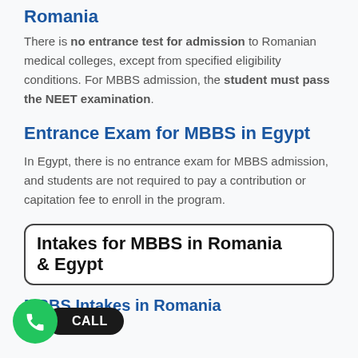Romania
There is no entrance test for admission to Romanian medical colleges, except from specified eligibility conditions. For MBBS admission, the student must pass the NEET examination.
Entrance Exam for MBBS in Egypt
In Egypt, there is no entrance exam for MBBS admission, and students are not required to pay a contribution or capitation fee to enroll in the program.
Intakes for MBBS in Romania & Egypt
MBBS Intakes in Romania